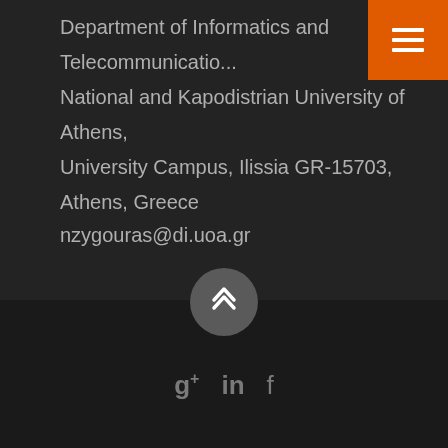Department of Informatics and Telecommunications
National and Kapodistrian University of Athens,
University Campus, Ilissia GR-15703,
Athens, Greece
nzygouras@di.uoa.gr
[Figure (other): Orange hamburger menu button in top-right corner]
[Figure (other): Grey circular scroll-to-top button with upward chevron]
[Figure (other): Social media icons: Google+, LinkedIn, Facebook]